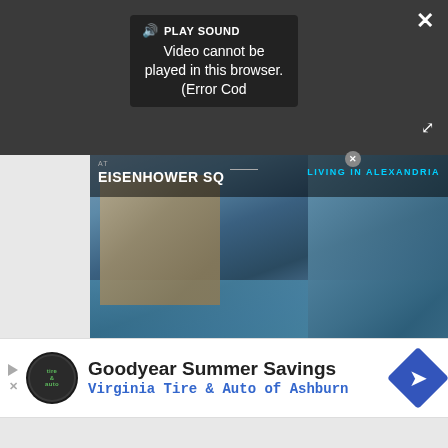[Figure (screenshot): Dark video player area showing error message: PLAY SOUND, Video cannot be played in this browser. (Error Cod — with speaker/sound icon, close X button, and expand icon]
PLAY SOUND
Video cannot be played in this browser. (Error Cod
[Figure (photo): Real estate advertisement photo showing rooftop pool area at Eisenhower SQ with lounge chairs, stone building and glass facade. Header text: AT EISENHOWER SQ / LIVING IN ALEXANDRIA. Footer bar: CLOSE TO IT ALL]
AT
EISENHOWER SQ
LIVING IN ALEXANDRIA
CLOSE TO IT ALL
[Figure (infographic): Goodyear Summer Savings advertisement banner with Virginia Tire & Auto of Ashburn logo, text, and blue directional diamond icon]
Goodyear Summer Savings
Virginia Tire & Auto of Ashburn